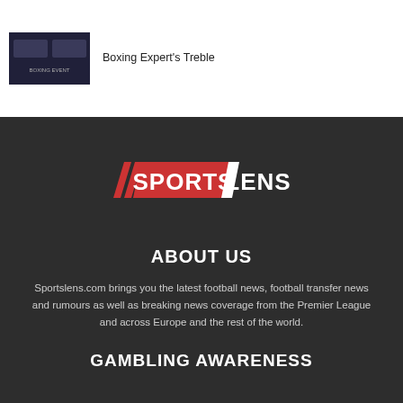[Figure (photo): Thumbnail image of a boxing event/fighters promotional poster with dark blue/purple tones]
Boxing Expert's Treble
[Figure (logo): Sports Lens logo: two red diagonal stripes on the left, red trapezoid background with white bold text SPORTS, then white bold text LENS on dark background]
ABOUT US
Sportslens.com brings you the latest football news, football transfer news and rumours as well as breaking news coverage from the Premier League and across Europe and the rest of the world.
GAMBLING AWARENESS